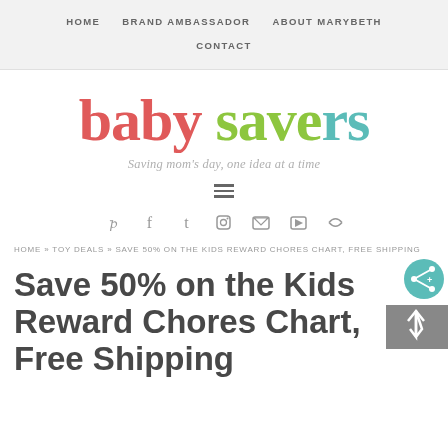HOME   BRAND AMBASSADOR   ABOUT MARYBETH   CONTACT
baby savers
Saving mom's day, one idea at a time
HOME » TOY DEALS » SAVE 50% ON THE KIDS REWARD CHORES CHART, FREE SHIPPING
Save 50% on the Kids Reward Chores Chart, Free Shipping